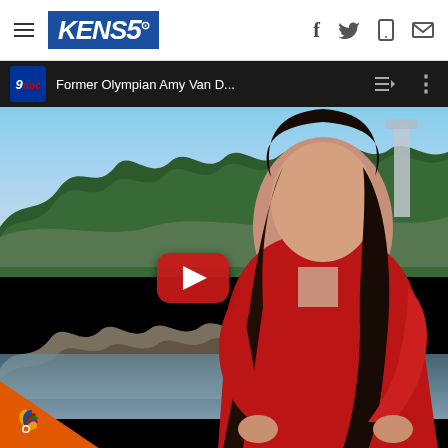KENS5 navigation bar with hamburger menu, KENS5 logo, and social icons (Facebook, Twitter, mobile, email)
[Figure (screenshot): Screenshot of a news website showing KENS5 header and an embedded YouTube video thumbnail. The video shows a woman with dark hair wearing a red shirt, seated outdoors near a river or waterfall with trees in the background. The YouTube video title bar reads '9nbc Former Olympian Amy Van D...' with queue and more options icons. A large YouTube play button appears in the center. An NBC peacock logo appears in the lower left of the video. The bottom of the screenshot shows a black bar below the video.]